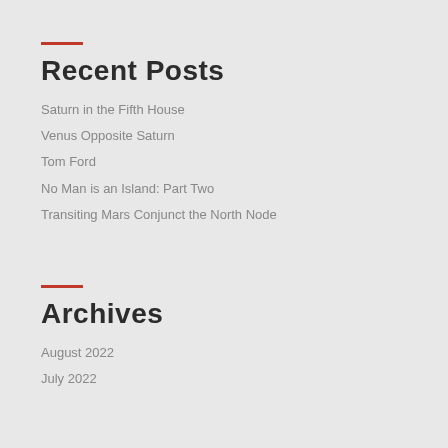Recent Posts
Saturn in the Fifth House
Venus Opposite Saturn
Tom Ford
No Man is an Island: Part Two
Transiting Mars Conjunct the North Node
Archives
August 2022
July 2022